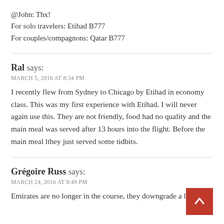@John: Thx!
For solo travelers: Etihad B777
For couples/compagnons: Qatar B777
Ral says:
MARCH 5, 2016 AT 8:34 PM
I recently flew from Sydney to Chicago by Etihad in economy class. This was my first experience with Etihad. I will never again use this. They are not friendly, food had no quality and the main meal was served after 13 hours into the flight. Before the main meal lthey just served some tidbits.
Grégoire Russ says:
MARCH 24, 2016 AT 8:49 PM
Emirates are no longer in the course, they downgrade a lot